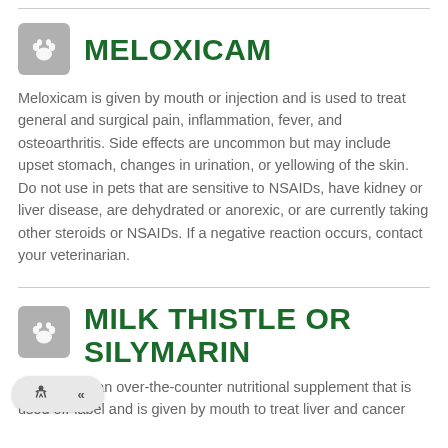MELOXICAM
Meloxicam is given by mouth or injection and is used to treat general and surgical pain, inflammation, fever, and osteoarthritis. Side effects are uncommon but may include upset stomach, changes in urination, or yellowing of the skin. Do not use in pets that are sensitive to NSAIDs, have kidney or liver disease, are dehydrated or anorexic, or are currently taking other steroids or NSAIDs. If a negative reaction occurs, contact your veterinarian.
MILK THISTLE OR SILYMARIN
Silymarin is an over-the-counter nutritional supplement that is used off-label and is given by mouth to treat liver and cancer conditions. Side effects...